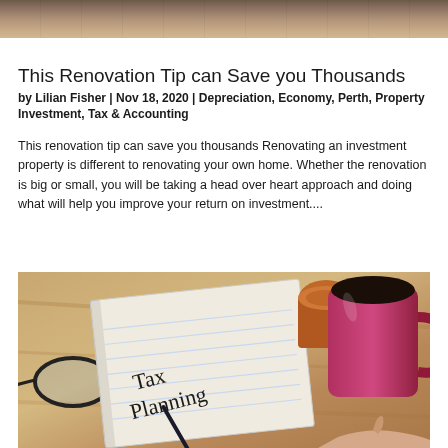[Figure (photo): Top portion of an outdoor photo, appears to be a path or walkway with people, cropped to a narrow strip at the top of the page.]
This Renovation Tip can Save you Thousands
by Lilian Fisher | Nov 18, 2020 | Depreciation, Economy, Perth, Property Investment, Tax & Accounting
This renovation tip can save you thousands Renovating an investment property is different to renovating your own home. Whether the renovation is big or small, you will be taking a head over heart approach and doing what will help you improve your return on investment....
[Figure (photo): Photo of a desk scene with an open notebook with 'Tax Planning' written in cursive, a pink/red coffee mug with dark coffee, glasses, a pen, and a small orange/brown container, on a wooden surface.]